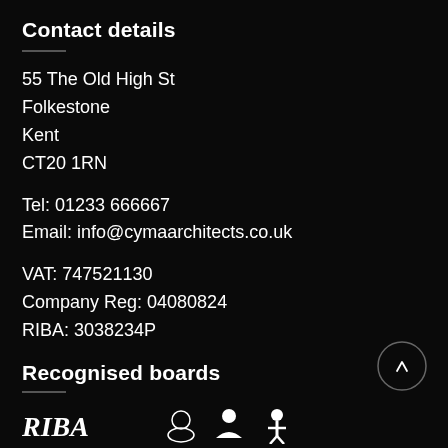Contact details
55 The Old High St
Folkestone
Kent
CT20 1RN
Tel: 01233 666667
Email: info@cymaarchitects.co.uk
VAT: 747521130
Company Reg: 04080824
RIBA: 3038234P
Recognised boards
[Figure (logo): Logos of recognised boards at bottom of page]